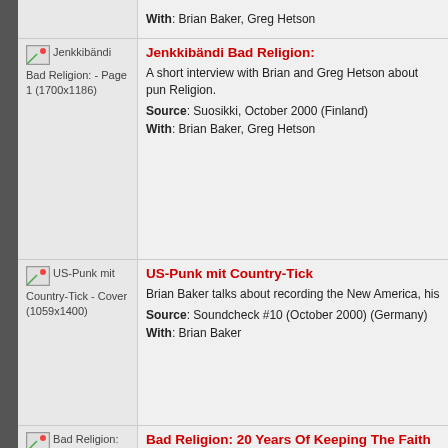With: Brian Baker, Greg Hetson
Jenkkibändi Bad Religion:
A short interview with Brian and Greg Hetson about punk Religion.
Source: Suosikki, October 2000 (Finland)
With: Brian Baker, Greg Hetson
US-Punk mit Country-Tick
Brian Baker talks about recording the New America, his
Source: Soundcheck #10 (October 2000) (Germany)
With: Brian Baker
Bad Religion: 20 Years Of Keeping The Faith
Greg Graffin talks about recording The New America with songs and talks about the collaboration with Brett.
Source: Music Revue (September 2000) (United States
With: Greg Graffin
Freunde des Hauses: Greg Graffin
Interview with Greg Graffin about touring, 80's punk scene recording The New America with Todd Rundgren, and th
Source: DTH (August 2000) (Germany)
With: Greg Graffin
MTV Sushi